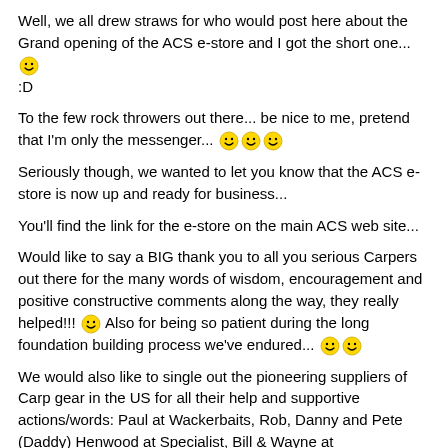Well, we all drew straws for who would post here about the Grand opening of the ACS e-store and I got the short one... 😄 :D
To the few rock throwers out there... be nice to me, pretend that I'm only the messenger... 😄😄😄
Seriously though, we wanted to let you know that the ACS e-store is now up and ready for business...
You'll find the link for the e-store on the main ACS web site...
Would like to say a BIG thank you to all you serious Carpers out there for the many words of wisdom, encouragement and positive constructive comments along the way, they really helped!!! 😄 Also for being so patient during the long foundation building process we've endured... 😄😄
We would also like to single out the pioneering suppliers of Carp gear in the US for all their help and supportive actions/words: Paul at Wackerbaits, Rob, Danny and Pete (Daddy) Henwood at Specialist, Bill & Wayne at BoilieShopUSA, Alex at Royal and all that came b4 them...